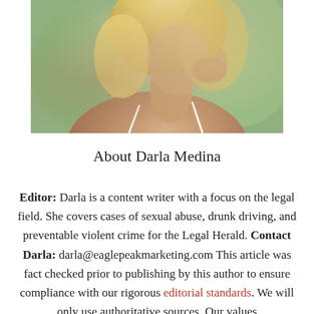[Figure (photo): Cropped photo of Darla Medina, a blonde woman, showing her shoulder and neck area in a white top]
About Darla Medina
Editor: Darla is a content writer with a focus on the legal field. She covers cases of sexual abuse, drunk driving, and preventable violent crime for the Legal Herald. Contact Darla: darla@eaglepeakmarketing.com This article was fact checked prior to publishing by this author to ensure compliance with our rigorous editorial standards. We will only use authoritative sources. Our values